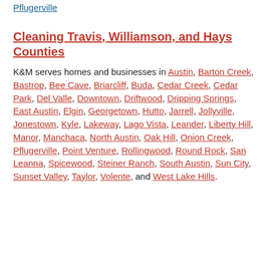Pflugerville
Cleaning Travis, Williamson, and Hays Counties
K&M serves homes and businesses in Austin, Barton Creek, Bastrop, Bee Cave, Briarcliff, Buda, Cedar Creek, Cedar Park, Del Valle, Downtown, Driftwood, Dripping Springs, East Austin, Elgin, Georgetown, Hutto, Jarrell, Jollyville, Jonestown, Kyle, Lakeway, Lago Vista, Leander, Liberty Hill, Manor, Manchaca, North Austin, Oak Hill, Onion Creek, Pflugerville, Point Venture, Rollingwood, Round Rock, San Leanna, Spicewood, Steiner Ranch, South Austin, Sun City, Sunset Valley, Taylor, Volente, and West Lake Hills.